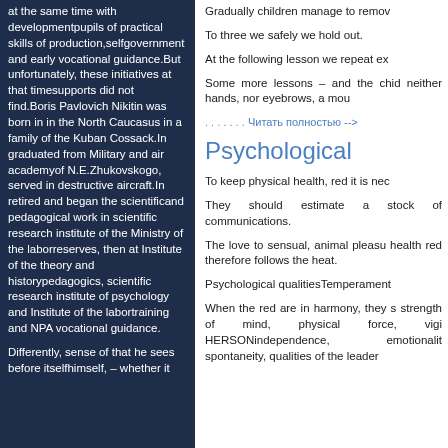at the same time with developmentpupils of practical skills of production,selfgovernment and early vocational guidance.But unfortunately, these initiatives at that timesupports did not find.Boris Pavlovich Nikitin was born in in the North Caucasus in a family of the Kuban Cossack.In graduated from Military and air academyof N.E.Zhukovskogo, served in destructive aircraft.In retired and began the scientificand pedagogical work in scientific research institute of the Ministry of the laborreserves, then at Institute of the theory and historypedagogics, scientific research institute of psychology and Institute of the labortraining and NPA vocational guidance.
Differently, sense of that he sees before itselfhimself, – whether it
Gradually children manage to remove
To three we safely we hold out.
At the following lesson we repeat ex
Some more lessons – and the chid neither hands, nor eyebrows, a mou
. . . . . . . Читать полностью -->
Psychological
To keep physical health, red it is nec
They should estimate a stock of communications.
The love to sensual, animal pleasu health red therefore follows the heat.
Psychological qualitiesTemperament
When the red are in harmony, they s strength of mind, physical force, vigi HERSONindependence, emotionalit spontaneity, qualities of the leader